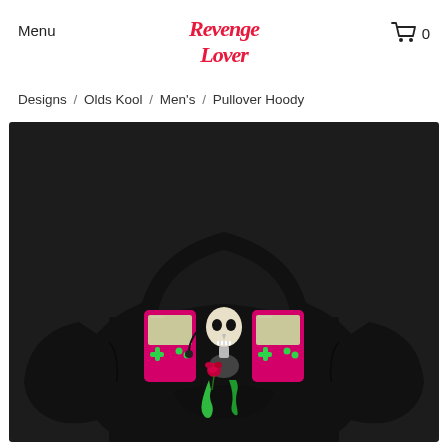Menu
[Figure (logo): Revenge Lover brand logo in red script lettering]
[Figure (infographic): Shopping cart icon with 0 items]
Designs / Olds Kool / Men's / Pullover Hoody
[Figure (photo): Black pullover hoodie with graphic design featuring a skeleton character holding a rose between two pink Game Boy handheld consoles, with green dripping details]